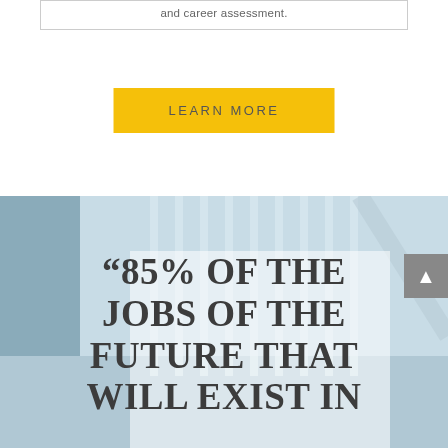and career assessment.
LEARN MORE
[Figure (photo): Background photo of architectural interior with vertical columns/pillars in a modern building, light blue-grey tones]
“85% OF THE JOBS OF THE FUTURE THAT WILL EXIST IN